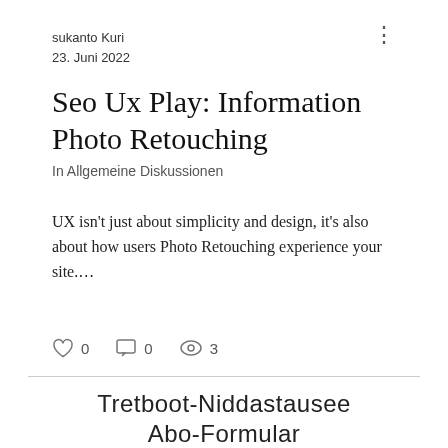sukanto Kuri
23. Juni 2022
Seo Ux Play: Information Photo Retouching
In Allgemeine Diskussionen
UX isn't just about simplicity and design, it's also about how users Photo Retouching experience your site.…
[Figure (other): Social interaction icons: heart (0), comment (0), views (3)]
Tretboot-Niddastausee
Abo-Formular